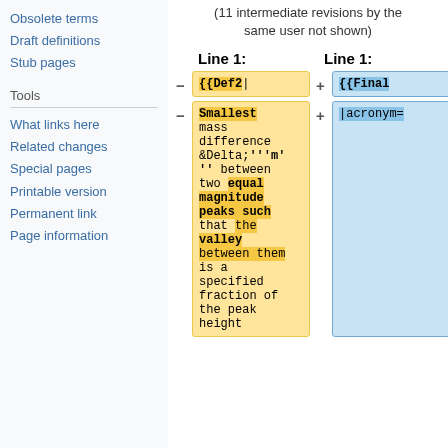Obsolete terms
Draft definitions
Stub pages
Tools
What links here
Related changes
Special pages
Printable version
Permanent link
Page information
(11 intermediate revisions by the same user not shown)
Line 1: (left) — {{Def2|
Line 1: (right) — {{Final
Smallest mass difference &Delta;'''m'' between two equal magnitude peaks such that the valley between them is a specified fraction of the peak height
|acronym=